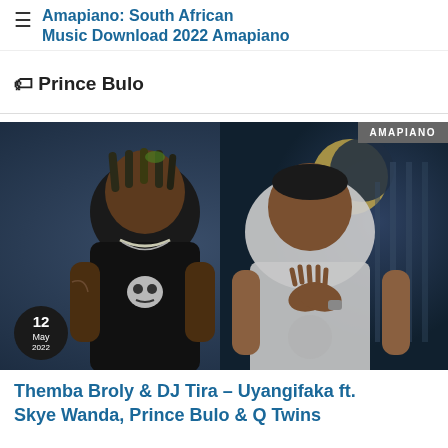Amapiano: South African Music Download 2022 Amapiano
Prince Bulo
[Figure (photo): Two male artists posed together in a dark studio setting. Left figure wears a black t-shirt with skull print and has braided hair with colored highlights. Right figure wears a light grey t-shirt with hands clasped in a prayer pose. A crescent moon graphic is visible in the background.]
Themba Broly & DJ Tira – Uyangifaka ft. Skye Wanda, Prince Bulo & Q Twins